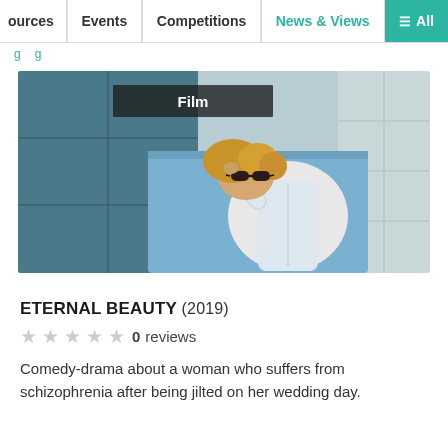ources | Events | Competitions | News & Views | ≡ All
[Figure (photo): Film still from Eternal Beauty (2019): a woman with curly blonde hair, wearing a white shirt and dark sunglasses, lying on a blue towel on a tiled floor, viewed from above. Overlaid label reads 'Film'.]
ETERNAL BEAUTY (2019)
★★★★★ 0 reviews
Comedy-drama about a woman who suffers from schizophrenia after being jilted on her wedding day.